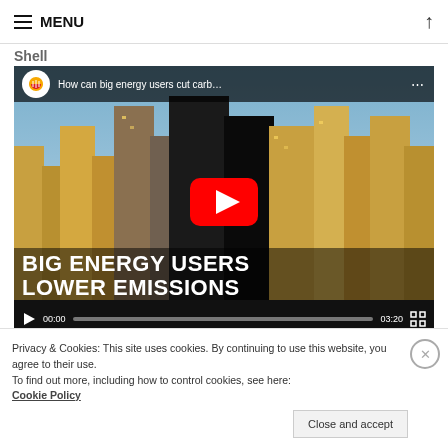≡ MENU
Shell
[Figure (screenshot): Embedded YouTube video player showing Shell video titled 'How can big energy users cut carb...' with a cityscape background, YouTube play button, video text overlay reading 'BIG ENERGY USERS LOWER EMISSIONS', and video controls showing 00:00 / 03:20]
Privacy & Cookies: This site uses cookies. By continuing to use this website, you agree to their use.
To find out more, including how to control cookies, see here:
Cookie Policy
Close and accept